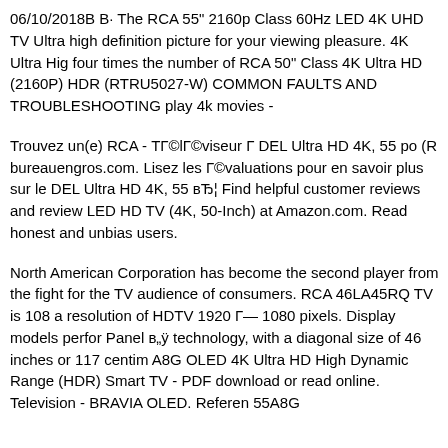06/10/2018B B· The RCA 55" 2160p Class 60Hz LED 4K UHD TV Ultra high definition picture for your viewing pleasure. 4K Ultra Hig four times the number of RCA 50" Class 4K Ultra HD (2160P) HDR (RTRU5027-W) COMMON FAULTS AND TROUBLESHOOTING play 4k movies -
Trouvez un(e) RCA - ТГ©lГ©viseur Г  DEL Ultra HD 4K, 55 po (R bureauengros.com. Lisez les Г©valuations pour en savoir plus sur le DEL Ultra HD 4K, 55 вЂ¦ Find helpful customer reviews and review LED HD TV (4K, 50-Inch) at Amazon.com. Read honest and unbias users.
North American Corporation has become the second player from the fight for the TV audience of consumers. RCA 46LA45RQ TV is 108 a resolution of HDTV 1920 Г— 1080 pixels. Display models perfor Panel в„ÿ technology, with a diagonal size of 46 inches or 117 centim A8G OLED 4K Ultra HD High Dynamic Range (HDR) Smart TV - PDF download or read online. Television - BRAVIA OLED. Referen 55A8G